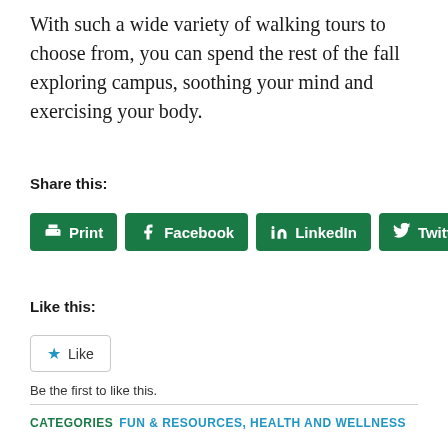With such a wide variety of walking tours to choose from, you can spend the rest of the fall exploring campus, soothing your mind and exercising your body.
Share this:
[Figure (other): Social sharing buttons: Print, Facebook, LinkedIn, Twitter — all green rounded rectangles with white icons and text]
Like this:
[Figure (other): Like button with blue star icon, styled with a border]
Be the first to like this.
CATEGORIES  FUN & RESOURCES, HEALTH AND WELLNESS